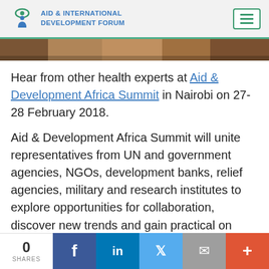AID & INTERNATIONAL DEVELOPMENT FORUM
[Figure (photo): Photo strip of people in Africa]
Hear from other health experts at Aid & Development Africa Summit in Nairobi on 27-28 February 2018.
Aid & Development Africa Summit will unite representatives from UN and government agencies, NGOs, development banks, relief agencies, military and research institutes to explore opportunities for collaboration, discover new trends and gain practical on
0 SHARES | Facebook | LinkedIn | Twitter | Email | +